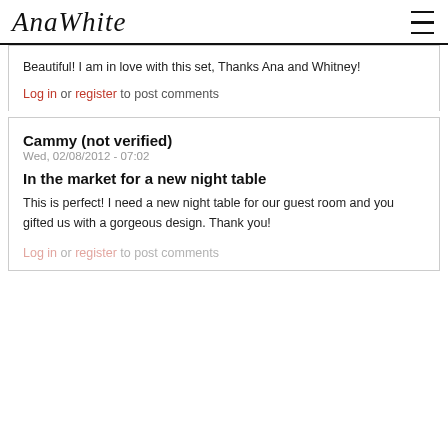AnaWhite
Beautiful! I am in love with this set, Thanks Ana and Whitney!
Log in or register to post comments
Cammy (not verified)
Wed, 02/08/2012 - 07:02
In the market for a new night table
This is perfect! I need a new night table for our guest room and you gifted us with a gorgeous design. Thank you!
Log in or register to post comments